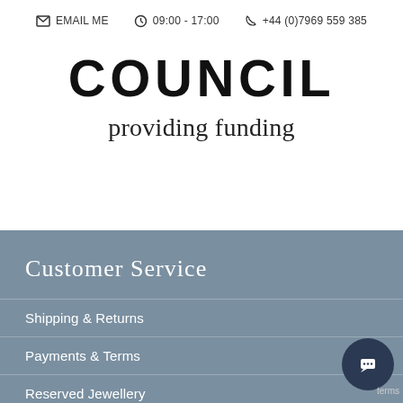EMAIL ME  09:00 - 17:00  +44 (0)7969 559 385
COUNCIL
providing funding
Customer Service
Shipping & Returns
Payments & Terms
Reserved Jewellery
Stockists